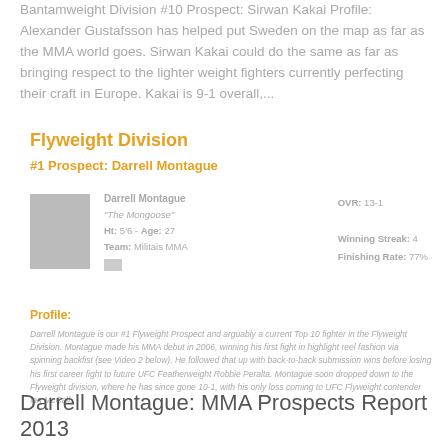Bantamweight Division #10 Prospect: Sirwan Kakai Profile: Alexander Gustafsson has helped put Sweden on the map as far as the MMA world goes. Sirwan Kakai could do the same as far as bringing respect to the lighter weight fighters currently perfecting their craft in Europe. Kakai is 9-1 overall,...
Flyweight Division
#1 Prospect: Darrell Montague
Darrell Montague "The Mongoose" Ht: 5'6" - Age: 27 Team: Militais MMA OVR: 13-1 Winning Streak: 4 Finishing Rate: 77%
Profile:
Darrell Montague is our #1 Flyweight Prospect and arguably a current Top 10 fighter in the Flyweight Division. Montague made his MMA debut in 2006, winning his first fight in highlight reel fashion via spinning backfist (see Video 2 below). He followed that up with back-to-back submission wins before losing his first career fight to future UFC Featherweight Robbie Peralta. Montague soon dropped down to the Flyweight division, where he has since gone 10-1, with his only loss coming to UFC Flyweight contender Ian McCall.
Darrell Montague: MMA Prospects Report 2013